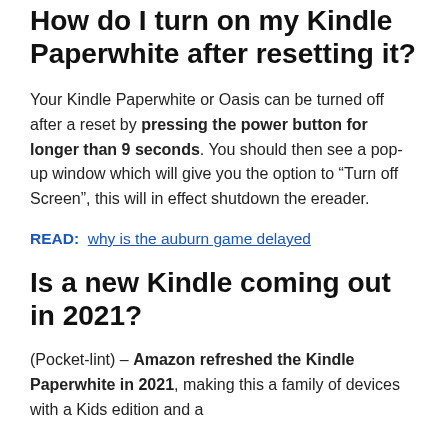How do I turn on my Kindle Paperwhite after resetting it?
Your Kindle Paperwhite or Oasis can be turned off after a reset by pressing the power button for longer than 9 seconds. You should then see a pop-up window which will give you the option to “Turn off Screen”, this will in effect shutdown the ereader.
READ:  why is the auburn game delayed
Is a new Kindle coming out in 2021?
(Pocket-lint) – Amazon refreshed the Kindle Paperwhite in 2021, making this a family of devices with a Kids edition and a